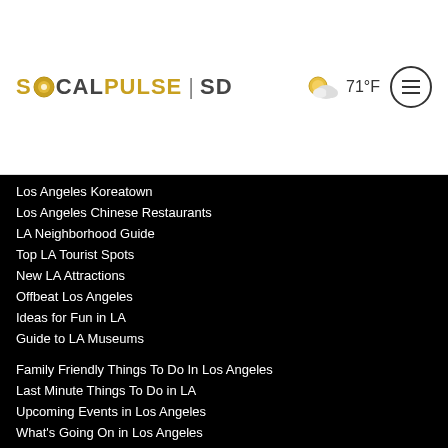SOCALPULSE | SD   71°F
Los Angeles Koreatown
Los Angeles Chinese Restaurants
LA Neighborhood Guide
Top LA Tourist Spots
New LA Attractions
Offbeat Los Angeles
Ideas for Fun in LA
Guide to LA Museums
Family Friendly Things To Do In Los Angeles
Last Minute Things To Do in LA
Upcoming Events in Los Angeles
What's Going On in Los Angeles
Best Things To Do In Los Angeles
Things To Do In LA that Don't Suck
Best Things to Do in LA
Whats Going On in LA
Upcoming Events in LA